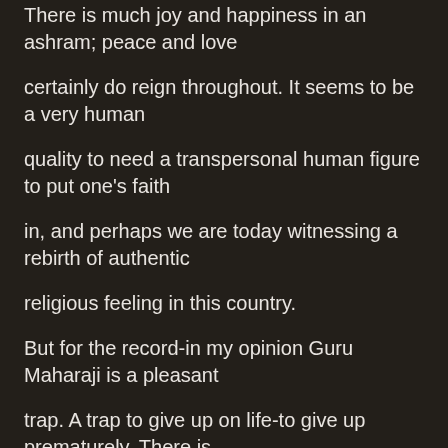There is much joy and happiness in an ashram; peace and love certainly do reign throughout. It seems to be a very human quality to need a transpersonal human figure to put one's faith in, and perhaps we are today witnessing a rebirth of authentic religious feeling in this country. But for the record-in my opinion Guru Maharaji is a pleasant trap. A trap to give up on life-to give up prematurely. There is no more self-imposed growth once one accepts Guru Maharaji, for there is no more self. It is